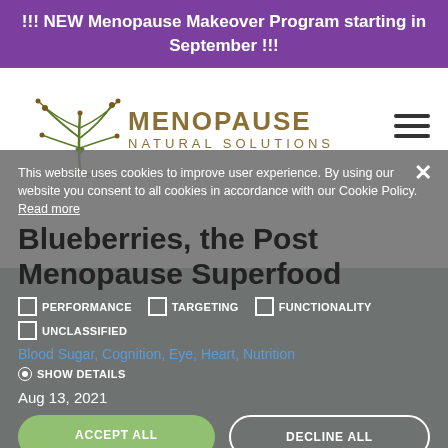!!! NEW Menopause Makeover Program starting in September !!!
[Figure (logo): Menopause Natural Solutions logo with green plant/roots illustration and gold text]
This website uses cookies to improve user experience. By using our website you consent to all cookies in accordance with our Cookie Policy. Read more
Blueberries, the Post Menopause Superfood
PERFORMANCE   TARGETING   FUNCTIONALITY   UNCLASSIFIED
Blood Sugar, Cognition, Eye, Heart, Nutrition
Aug 13, 2021
ACCEPT ALL   DECLINE ALL
POWERED BY COOKIE-SCRIPT